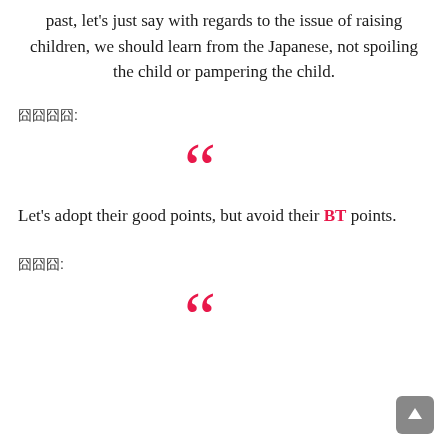past, let's just say with regards to the issue of raising children, we should learn from the Japanese, not spoiling the child or pampering the child.
囧囧囧囧:
[Figure (illustration): Large pink/red opening quotation marks decorative element]
Let's adopt their good points, but avoid their BT points.
囧囧囧:
[Figure (illustration): Large pink/red opening quotation marks decorative element (partial, bottom of page)]